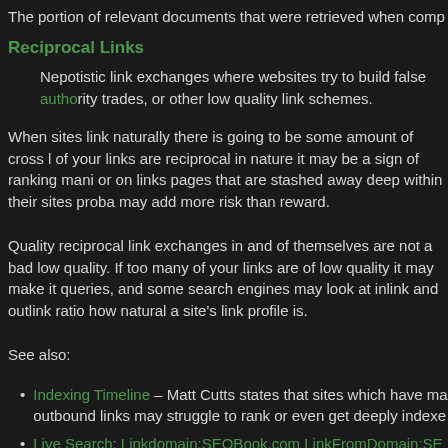The portion of relevant documents that were retrieved when comp
Reciprocal Links
Nepotistic link exchanges where websites try to build false authority trades, or other low quality link schemes.
When sites link naturally there is going to be some amount of cross linking. If too many of your links are reciprocal in nature it may be a sign of ranking manipulation. Links on or on links pages that are stashed away deep within their sites probably pass little value and may add more risk than reward.
Quality reciprocal link exchanges in and of themselves are not a bad thing, but many are low quality. If too many of your links are of low quality it may make it harder to rank for queries, and some search engines may look at inlink and outlink ratios as a signal of how natural a site's link profile is.
See also:
Indexing Timeline – Matt Cutts states that sites which have many outbound links may struggle to rank or even get deeply indexed
Live Search: Linkdomain:SEOBook.com LinkFromDomain:SE